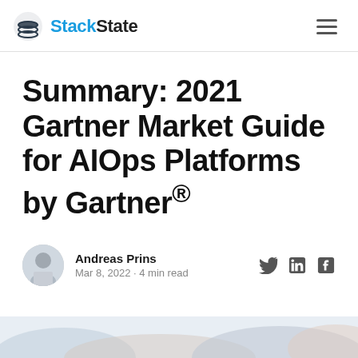StackState
Summary: 2021 Gartner Market Guide for AIOps Platforms by Gartner®
Andreas Prins
Mar 8, 2022 · 4 min read
[Figure (illustration): Abstract decorative background image at the bottom of the page with light blue and pink gradient shapes]